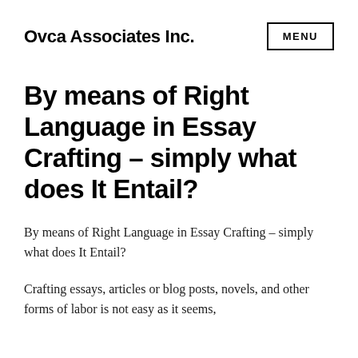Ovca Associates Inc.
By means of Right Language in Essay Crafting – simply what does It Entail?
By means of Right Language in Essay Crafting – simply what does It Entail?
Crafting essays, articles or blog posts, novels, and other forms of labor is not easy as it seems,